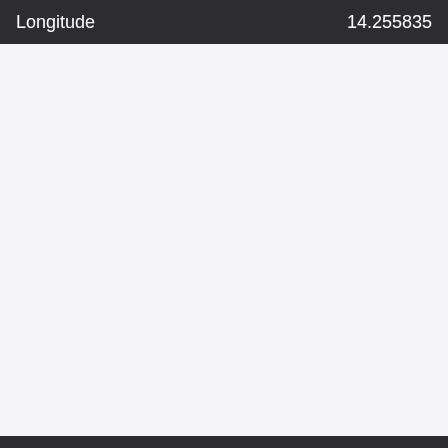| Longitude | 14.255835 |
| --- | --- |